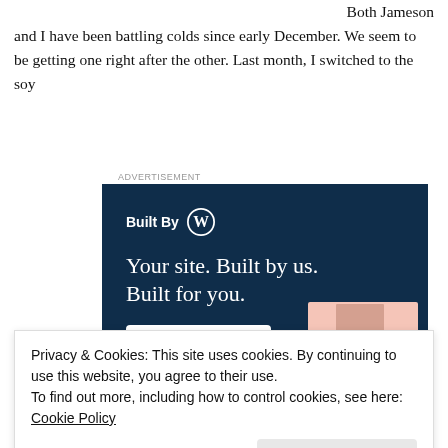Both Jameson and I have been battling colds since early December. We seem to be getting one right after the other. Last month, I switched to the soy
[Figure (advertisement): WordPress advertisement banner with dark navy background. Shows 'Built By' with WordPress logo, headline 'Your site. Built by us. Built for you.', a 'Get a quote now' button, and website mockup images on the right side.]
Privacy & Cookies: This site uses cookies. By continuing to use this website, you agree to their use.
To find out more, including how to control cookies, see here: Cookie Policy
Close and accept